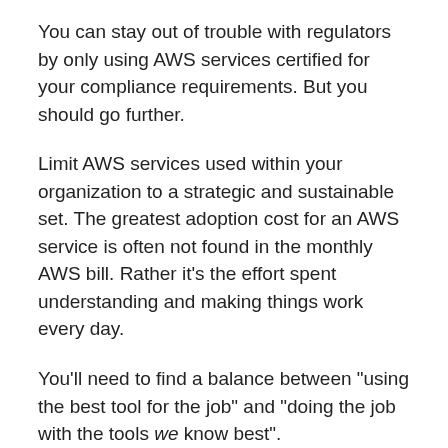You can stay out of trouble with regulators by only using AWS services certified for your compliance requirements. But you should go further.
Limit AWS services used within your organization to a strategic and sustainable set. The greatest adoption cost for an AWS service is often not found in the monthly AWS bill. Rather it's the effort spent understanding and making things work every day.
You'll need to find a balance between "using the best tool for the job" and "doing the job with the tools we know best".
AWS service sprawl is a real problem in many organizations. What portion of AWS services do you think delivery teams actually need to support the